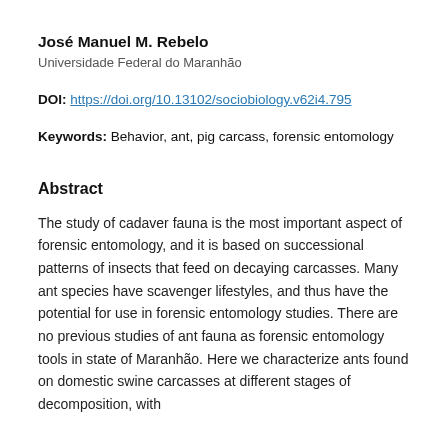José Manuel M. Rebelo
Universidade Federal do Maranhão
DOI: https://doi.org/10.13102/sociobiology.v62i4.795
Keywords: Behavior, ant, pig carcass, forensic entomology
Abstract
The study of cadaver fauna is the most important aspect of forensic entomology, and it is based on successional patterns of insects that feed on decaying carcasses. Many ant species have scavenger lifestyles, and thus have the potential for use in forensic entomology studies. There are no previous studies of ant fauna as forensic entomology tools in state of Maranhão. Here we characterize ants found on domestic swine carcasses at different stages of decomposition, with